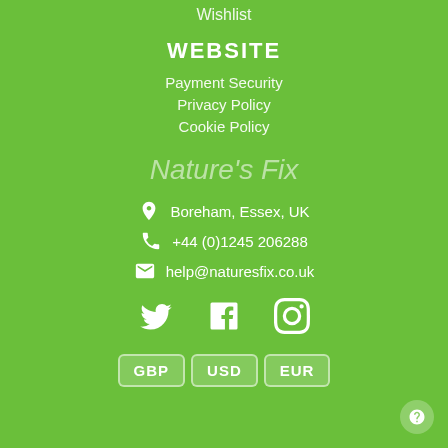Wishlist
WEBSITE
Payment Security
Privacy Policy
Cookie Policy
Nature's Fix
Boreham, Essex, UK
+44 (0)1245 206288
help@naturesfix.co.uk
[Figure (infographic): Social media icons: Twitter, Facebook, Instagram]
GBP  USD  EUR